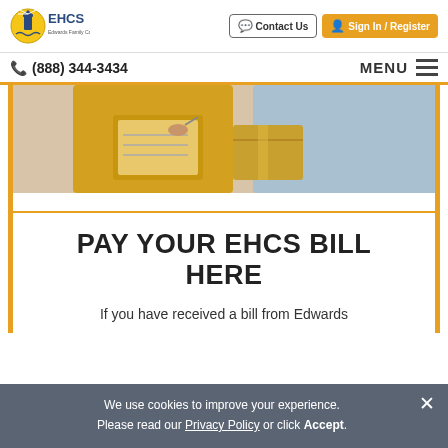[Figure (logo): EHCS (Edwards Family Care Services) lighthouse logo with text]
Contact Us
Sign In / Register
(888) 344-3434
MENU
[Figure (photo): Close-up photo of two people, one in yellow top signing a document on a clipboard, the other in a light blue top]
PAY YOUR EHCS BILL HERE
If you have received a bill from Edwards
We use cookies to improve your experience. Please read our Privacy Policy or click Accept.